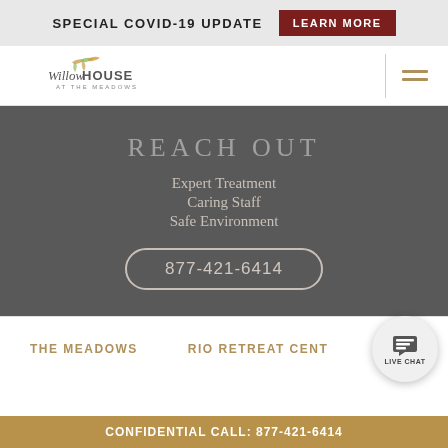SPECIAL COVID-19 UPDATE   LEARN MORE
[Figure (logo): WillowHouse at the Meadows logo with decorative branch and leaf illustration]
REACH OUT
Expert Treatment
Caring Staff
Safe Environment
877-421-6414
THE MEADOWS   RIO RETREAT CENTER
CONFIDENTIAL CALL: 877-421-6414